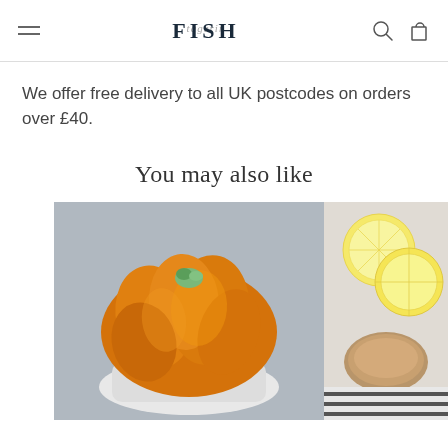Fish logo / tagline header with hamburger menu, search and cart icons
We offer free delivery to all UK postcodes on orders over £40.
You may also like
[Figure (photo): Close-up photo of sea urchin (uni) on white rice, with a small green garnish on top, placed on a blue-grey background]
[Figure (photo): Partial photo showing lemon slices and what appears to be a seafood dish on a light surface with a striped cloth]